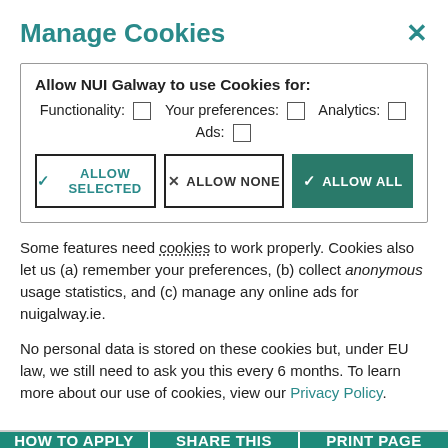Manage Cookies
[Figure (screenshot): Cookie consent dialog box with checkboxes for Functionality, Your preferences, Analytics, Ads, and three buttons: Allow Selected, Allow None, Allow All]
Some features need cookies to work properly. Cookies also let us (a) remember your preferences, (b) collect anonymous usage statistics, and (c) manage any online ads for nuigalway.ie.
No personal data is stored on these cookies but, under EU law, we still need to ask you this every 6 months. To learn more about our use of cookies, view our Privacy Policy.
HOW TO APPLY   SHARE THIS   PRINT PAGE